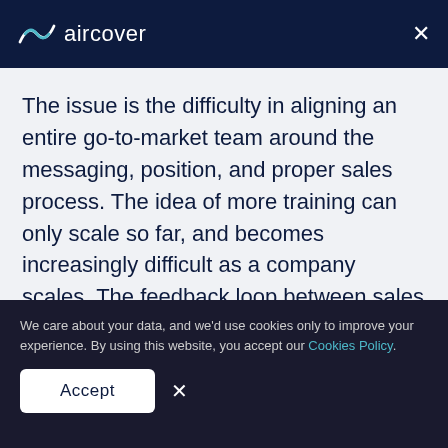aircover
The issue is the difficulty in aligning an entire go-to-market team around the messaging, position, and proper sales process. The idea of more training can only scale so far, and becomes increasingly difficult as a company scales. The feedback loop between sales and leadership was easier to control when I had a 5 person sales team at my first startup, where I was Co-Founder/CEO. As sales and customer success continued to grow to 20, 30, 40 etc, it became increasingly harder to scale the narrative
We care about your data, and we'd use cookies only to improve your experience. By using this website, you accept our Cookies Policy.